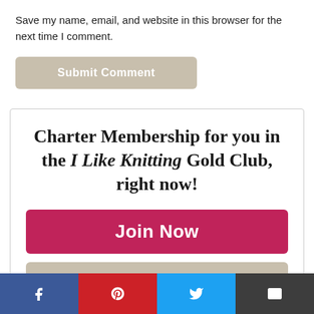Save my name, email, and website in this browser for the next time I comment.
[Figure (other): Submit Comment button (beige/tan rounded rectangle button)]
Charter Membership for you in the I Like Knitting Gold Club, right now!
[Figure (other): Join Now button (pink/magenta rounded rectangle)]
[Figure (other): Learn More button (beige/tan rounded rectangle, partially visible)]
[Figure (other): Social share bar with Facebook, Pinterest, Twitter, and Email buttons]